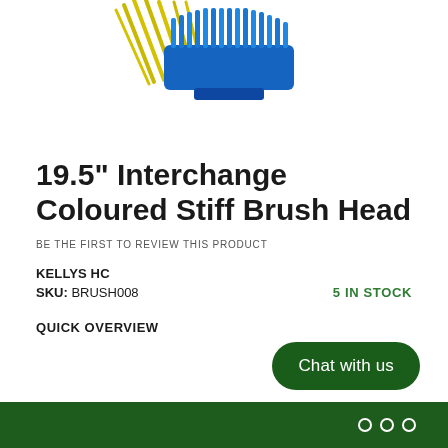[Figure (photo): Partial image of a blue and yellow stiff brush head product against a white background, cropped at top]
19.5" Interchange Coloured Stiff Brush Head
BE THE FIRST TO REVIEW THIS PRODUCT
KELLYS HC
SKU: BRUSH008
5 IN STOCK
QUICK OVERVIEW
Chat with us
○ ○ ○